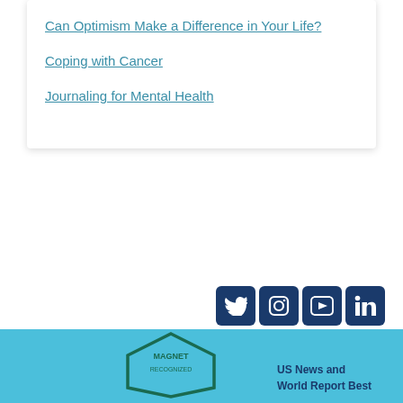Can Optimism Make a Difference in Your Life?
Coping with Cancer
Journaling for Mental Health
[Figure (infographic): Social media icons row: Twitter, Instagram, YouTube, LinkedIn, Tumblr, Facebook — all white icons on dark navy/blue square backgrounds]
[Figure (logo): Magnet Recognized badge (hexagonal teal/green outline) in a light blue footer bar]
[Figure (logo): US News and World Report Best logo partial in footer bar]